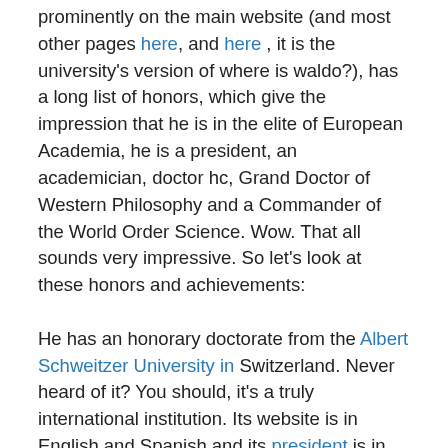prominently on the main website (and most other pages here, and here, it is the university's version of where is waldo?), has a long list of honors, which give the impression that he is in the elite of European Academia, he is a president, an academician, doctor hc, Grand Doctor of Western Philosophy and a Commander of the World Order Science. Wow. That all sounds very impressive. So let's look at these honors and achievements:

He has an honorary doctorate from the Albert Schweitzer University in Switzerland. Never heard of it? You should, it's a truly international institution. Its website is in English and Spanish and its president is in Madrid, its rector in Argentina and other functionaries in Warsaw, Spain and Alabama. Very international, but its seems that neither rector or president or any other leading official is based in